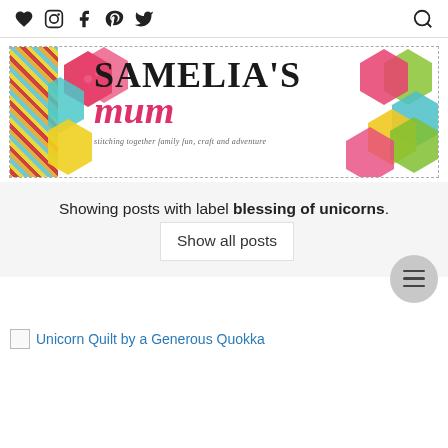Navigation bar with heart, Instagram, Facebook, Pinterest, Twitter icons and search icon
[Figure (logo): Samelia's Mum blog logo banner with colorful hexagon quilt pattern on sides and text 'SAMELIA'S mum - stitching together family fun, craft and adventure']
Showing posts with label blessing of unicorns. Show all posts
Unicorn Quilt by a Generous Quokka